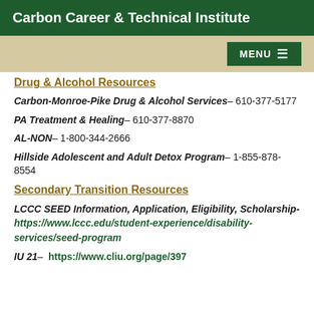Carbon Career & Technical Institute
Drug & Alcohol Resources
Carbon-Monroe-Pike Drug & Alcohol Services – 610-377-5177
PA Treatment & Healing – 610-377-8870
AL-NON – 1-800-344-2666
Hillside Adolescent and Adult Detox Program – 1-855-878-8554
Secondary Transition Resources
LCCC SEED Information, Application, Eligibility, Scholarship- https://www.lccc.edu/student-experience/disability-services/seed-program
IU 21– https://www.cliu.org/page/397